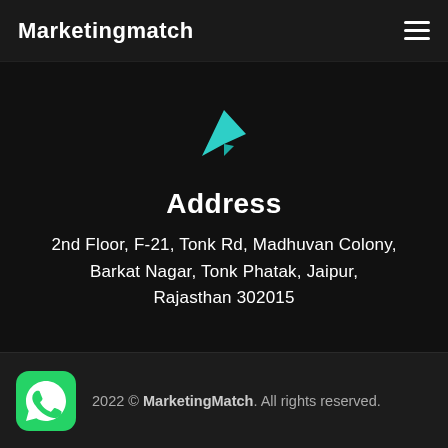Marketingmatch
[Figure (illustration): Teal/cyan location/navigation arrow icon pointing upper-right]
Address
2nd Floor, F-21, Tonk Rd, Madhuvan Colony, Barkat Nagar, Tonk Phatak, Jaipur, Rajasthan 302015
2022 © MarketingMatch. All rights reserved.